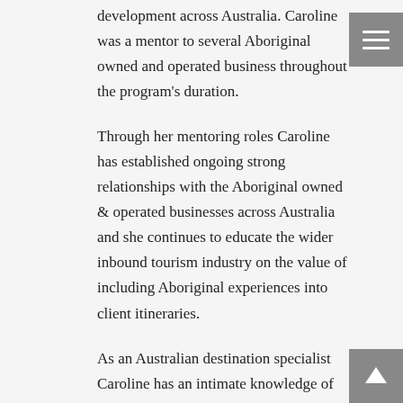development across Australia. Caroline was a mentor to several Aboriginal owned and operated business throughout the program's duration.
Through her mentoring roles Caroline has established ongoing strong relationships with the Aboriginal owned & operated businesses across Australia and she continues to educate the wider inbound tourism industry on the value of including Aboriginal experiences into client itineraries.
As an Australian destination specialist Caroline has an intimate knowledge of remote and regional Australia and understands the strength and value of Ecotourism accredited members to Australia's story.